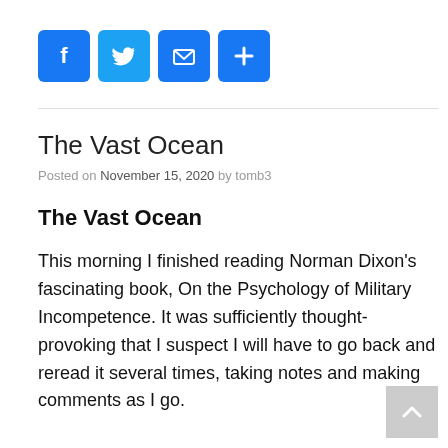[Figure (infographic): Social sharing icons: Facebook, Twitter, Email, and a plus/share button, all in blue rounded squares.]
The Vast Ocean
Posted on November 15, 2020 by tomb3
The Vast Ocean
This morning I finished reading Norman Dixon's fascinating book, On the Psychology of Military Incompetence. It was sufficiently thought-provoking that I suspect I will have to go back and reread it several times, taking notes and making comments as I go.